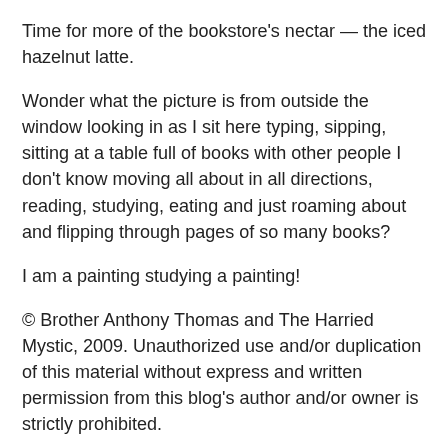Time for more of the bookstore's nectar — the iced hazelnut latte.
Wonder what the picture is from outside the window looking in as I sit here typing, sipping, sitting at a table full of books with other people I don't know moving all about in all directions, reading, studying, eating and just roaming about and flipping through pages of so many books?
I am a painting studying a painting!
© Brother Anthony Thomas and The Harried Mystic, 2009. Unauthorized use and/or duplication of this material without express and written permission from this blog's author and/or owner is strictly prohibited.